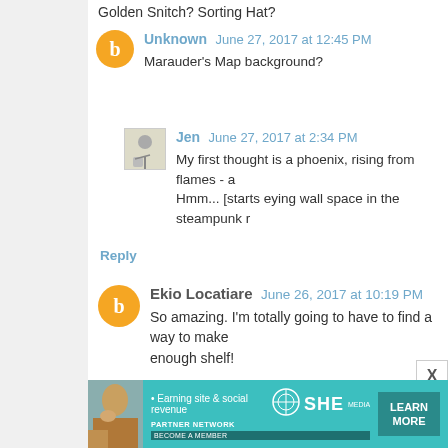Golden Snitch? Sorting Hat?
Unknown   June 27, 2017 at 12:45 PM
Marauder's Map background?
Jen   June 27, 2017 at 2:34 PM
My first thought is a phoenix, rising from flames - a
Hmm... [starts eying wall space in the steampunk r
Reply
Ekio Locatiare   June 26, 2017 at 10:19 PM
So amazing. I'm totally going to have to find a way to make
enough shelf!
Reply
Trinity   June 26, 2017 at 10:35 PM
[Figure (infographic): SHE Media partner network ad banner with woman photo and Learn More button]